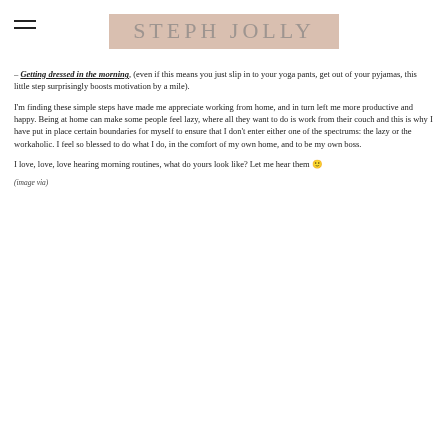STEPH JOLLY
– Getting dressed in the morning, (even if this means you just slip in to your yoga pants, get out of your pyjamas, this little step surprisingly boosts motivation by a mile).
I'm finding these simple steps have made me appreciate working from home, and in turn left me more productive and happy. Being at home can make some people feel lazy, where all they want to do is work from their couch and this is why I have put in place certain boundaries for myself to ensure that I don't enter either one of the spectrums: the lazy or the workaholic. I feel so blessed to do what I do, in the comfort of my own home, and to be my own boss.
I love, love, love hearing morning routines, what do yours look like? Let me hear them 🙂
(image via)